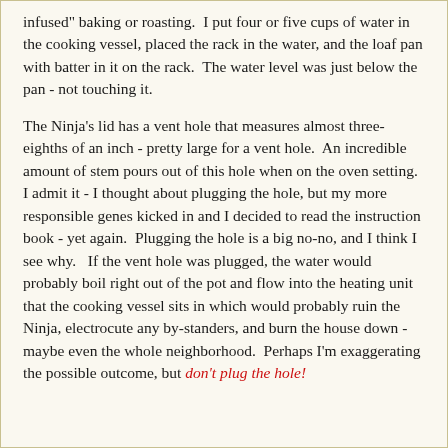infused" baking or roasting. I put four or five cups of water in the cooking vessel, placed the rack in the water, and the loaf pan with batter in it on the rack. The water level was just below the pan - not touching it.
The Ninja's lid has a vent hole that measures almost three-eighths of an inch - pretty large for a vent hole. An incredible amount of stem pours out of this hole when on the oven setting. I admit it - I thought about plugging the hole, but my more responsible genes kicked in and I decided to read the instruction book - yet again. Plugging the hole is a big no-no, and I think I see why. If the vent hole was plugged, the water would probably boil right out of the pot and flow into the heating unit that the cooking vessel sits in which would probably ruin the Ninja, electrocute any by-standers, and burn the house down - maybe even the whole neighborhood. Perhaps I'm exaggerating the possible outcome, but don't plug the hole!